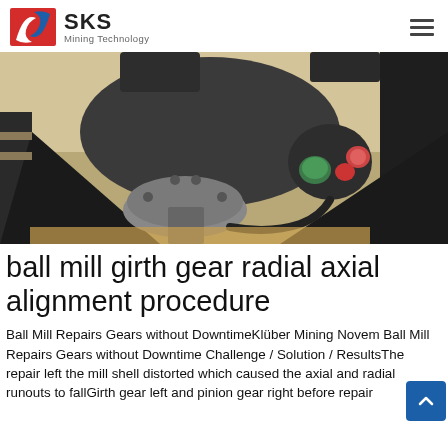SKS Mining Technology
[Figure (photo): Close-up photo of a ball mill girth gear and pinion gear assembly in an industrial workshop setting, showing mechanical components including a large grey flange and gear housing with green and red accents.]
ball mill girth gear radial axial alignment procedure
Ball Mill Repairs Gears without DowntimeKlüber Mining Novem Ball Mill Repairs Gears without Downtime Challenge / Solution / ResultsThe repair left the mill shell distorted which caused the axial and radial runouts to fallGirth gear left and pinion gear right before repair